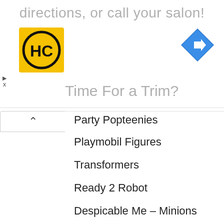directions, or call your salon!
[Figure (logo): HC logo - yellow square with black HC letters and circle]
[Figure (other): Blue diamond navigation/directions icon with white right-turn arrow]
Time For a Trim?
Party Popteenies
Playmobil Figures
Transformers
Ready 2 Robot
Despicable Me – Minions
The Grossery Gang
Littlest Pet Shop
Feisty Pets Mini Misfits
Funko's Mystery Minis
Baby Secrets
Lost Kitties
Puppy Dog Pals Travel Pets